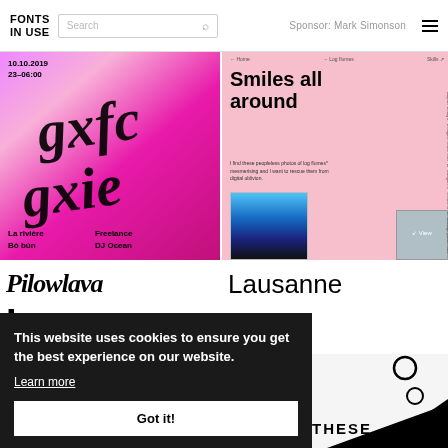FONTS IN USE | Search | Sponsor: Mark Simonson
[Figure (screenshot): Pink/magenta event poster with bold script lettering, date 10.10.2019 23-06:00, La rivière, Bò bún, Freelance, DJ Ocean]
[Figure (screenshot): Pink website screenshot showing 'Smiles all around' headline with body text and product photo]
Pilowlava
Lausanne
Lausanne
[Figure (illustration): Abstract illustration with circles and dark triangle shape with text THESE]
[Figure (photo): Colorful abstract photo at bottom left]
This website uses cookies to ensure you get the best experience on our website. Learn more
Got it!